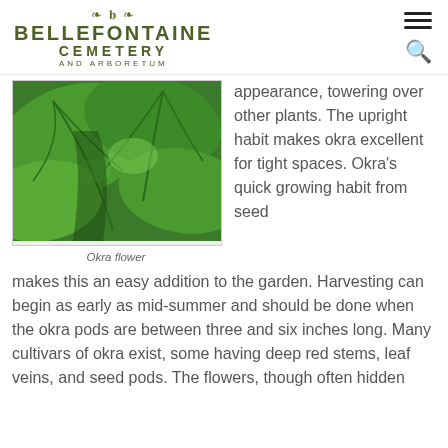[Figure (logo): Bellefontaine Cemetery and Arboretum logo with ornamental flourishes]
[Figure (photo): Close-up photograph of large green okra leaves]
Okra flower
appearance, towering over other plants.  The upright habit makes okra excellent for tight spaces.  Okra's quick growing habit from seed makes this an easy addition to the garden.  Harvesting can begin as early as mid-summer and should be done when the okra pods are between three and six inches long.  Many cultivars of okra exist, some having deep red stems, leaf veins, and seed pods.  The flowers, though often hidden